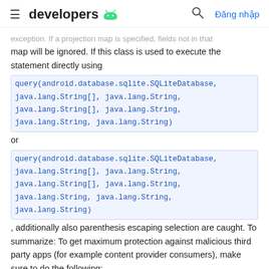≡ developers 🤖  🔍 Đăng nhập
exception. If a projection map is specified, fields not in that map will be ignored. If this class is used to execute the statement directly using
query(android.database.sqlite.SQLiteDatabase, java.lang.String[], java.lang.String, java.lang.String[], java.lang.String, java.lang.String)
or
query(android.database.sqlite.SQLiteDatabase, java.lang.String[], java.lang.String, java.lang.String[], java.lang.String, java.lang.String, java.lang.String)
, additionally also parenthesis escaping selection are caught. To summarize: To get maximum protection against malicious third party apps (for example content provider consumers), make sure to do the following:
Set this value to true